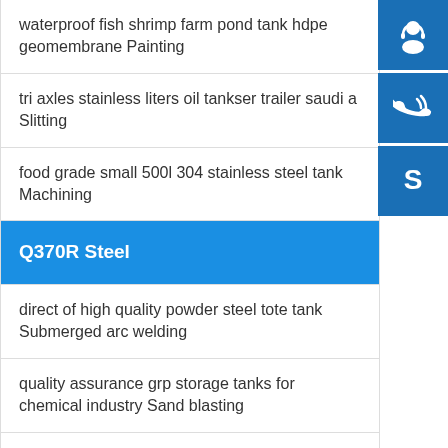waterproof fish shrimp farm pond tank hdpe geomembrane Painting
tri axles stainless liters oil tankser trailer saudi a Slitting
food grade small 500l 304 stainless steel tank Machining
Q370R Steel
direct of high quality powder steel tote tank Submerged arc welding
quality assurance grp storage tanks for chemical industry Sand blasting